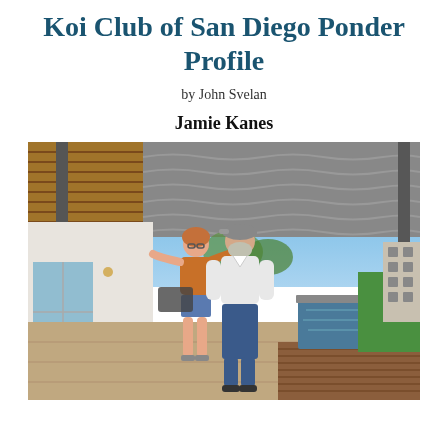Koi Club of San Diego Ponder Profile
by John Svelan
Jamie Kanes
[Figure (photo): Two people standing outdoors under a metal pergola structure with retractable shade, next to a modern patio and pond area. A woman in an orange top and denim shorts is embracing a man in a grey cap and white shirt. Modern home with white walls visible in the background, green lawn and garden to the right.]